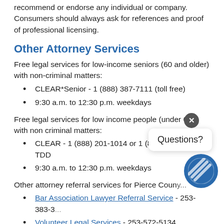recommend or endorse any individual or company. Consumers should always ask for references and proof of professional licensing.
Other Attorney Services
Free legal services for low-income seniors (60 and older) with non-criminal matters:
CLEAR*Senior - 1 (888) 387-7111 (toll free)
9:30 a.m. to 12:30 p.m. weekdays
Free legal services for low income people (under 60) with non criminal matters:
CLEAR - 1 (888) 201-1014 or 1 (888) 201-9737 TDD
9:30 a.m. to 12:30 p.m. weekdays
Other attorney referral services for Pierce Coun...
Bar Association Lawyer Referral Service - 253-383-3...
Volunteer Legal Services - 253-572-5134
Senior Scene newspaper lists attorneys that provide